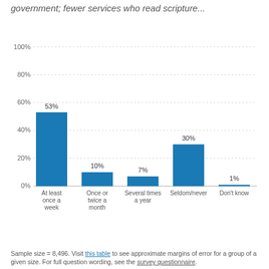government; fewer services who read scripture...
[Figure (bar-chart): ]
Sample size = 8,496. Visit this table to see approximate margins of error for a group of a given size. For full question wording, see the survey questionnaire.